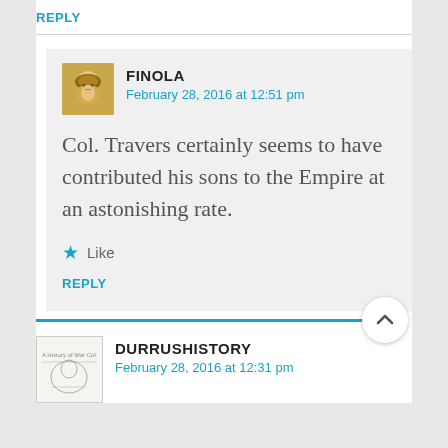REPLY
FINOLA
February 28, 2016 at 12:51 pm
Col. Travers certainly seems to have contributed his sons to the Empire at an astonishing rate.
Like
REPLY
DURRUSHISTORY
February 28, 2016 at 12:31 pm